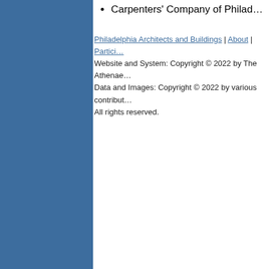Carpenters' Company of Philad…
Philadelphia Architects and Buildings | About | Partici… Website and System: Copyright © 2022 by The Athenae… Data and Images: Copyright © 2022 by various contribut… All rights reserved.